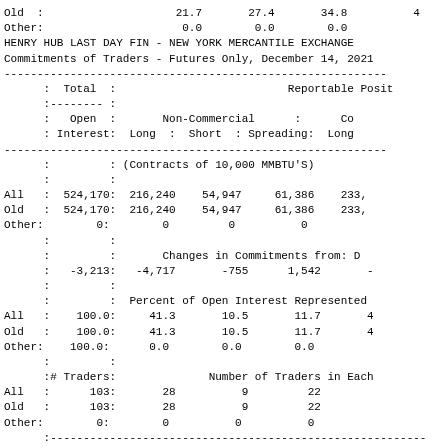|  | Total Open Interest | Non-Commercial Long | Non-Commercial Short | Non-Commercial Spreading | Commercial Long |
| --- | --- | --- | --- | --- | --- |
| Old | 21.7 | 27.4 | 34.8 | 4 |
| Other: | 0.0 | 0.0 | 0.0 |  |
|  |  |  |  |  |
| All | 524,170 | 216,240 | 54,947 | 61,386 | 233, |
| Old | 524,170 | 216,240 | 54,947 | 61,386 | 233, |
| Other: | 0 | 0 | 0 | 0 |  |
|  | -3,213 | -4,717 | -755 | 1,542 | - |
| All | 100.0 | 41.3 | 10.5 | 11.7 | 4 |
| Old | 100.0 | 41.3 | 10.5 | 11.7 | 4 |
| Other: | 100.0 | 0.0 | 0.0 | 0.0 |  |
| All | 103 | 28 | 9 | 22 |  |
| Old | 103 | 28 | 9 | 22 |  |
| Other: | 0 | 0 | 0 | 0 |  |
HENRY HUB LAST DAY FIN - NEW YORK MERCANTILE EXCHANGE
Commitments of Traders - Futures Only, December 14, 2021
(Contracts of 10,000 MMBTU'S)
Changes in Commitments from: D
Percent of Open Interest Represented
Number of Traders in Each